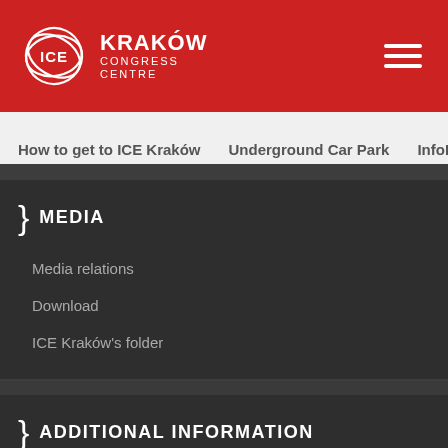ICE Kraków Congress Centre
How to get to ICE Kraków | Underground Car Park | InfoK
MEDIA
Media relations
Download
ICE Kraków's folder
ADDITIONAL INFORMATION
Events
BIP
Career